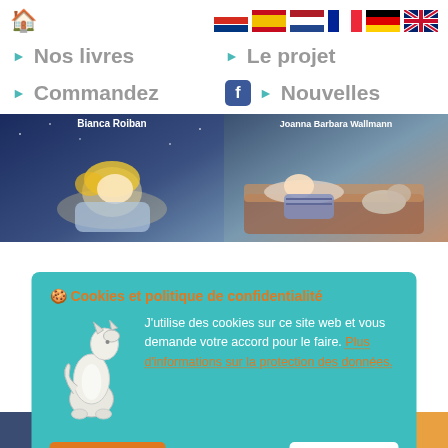Navigation bar with home icon and language flags (Russian, Spanish, Dutch, French, German, English)
Nos livres
Le projet
Commandez
Nouvelles
[Figure (illustration): Book cover left: Bianca Roiban, anime-style sleeping boy with blond hair]
[Figure (illustration): Book cover right: Joanna Barbara Wallmann, child reading in bed illustration]
Cookies et politique de confidentialité
J'utilise des cookies sur ce site web et vous demande votre accord pour le faire. Plus d'informations sur la protection des données.
Read by:
Read by: